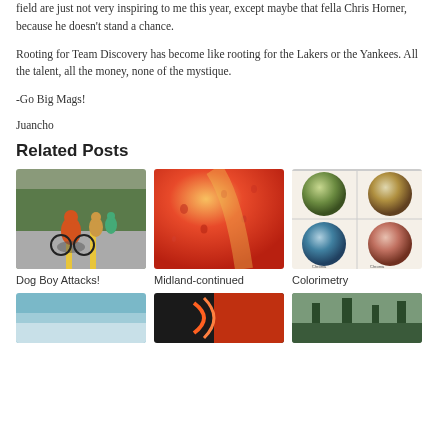field are just not very inspiring to me this year, except maybe that fella Chris Horner, because he doesn't stand a chance.
Rooting for Team Discovery has become like rooting for the Lakers or the Yankees. All the talent, all the money, none of the mystique.
-Go Big Mags!
Juancho
Related Posts
[Figure (photo): Cyclist racing on road with other cyclists in background]
Dog Boy Attacks!
[Figure (photo): Close-up of red and yellow fruit surface with water droplets]
Midland-continued
[Figure (photo): Scientific color charts showing circular colorimetry diagrams in four quadrants]
Colorimetry
[Figure (photo): Partial image - bottom row left thumbnail]
[Figure (photo): Partial image - bottom row middle thumbnail]
[Figure (photo): Partial image - bottom row right thumbnail]